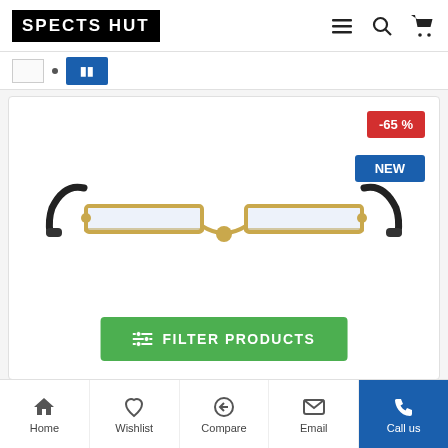SPECTS HUT
[Figure (screenshot): Pagination bar with page number input box and blue button]
[Figure (photo): Gold metal half-rim reading glasses on white background with -65% discount badge and NEW badge, plus green FILTER PRODUCTS button overlay]
Home | Wishlist | Compare | Email | Call us